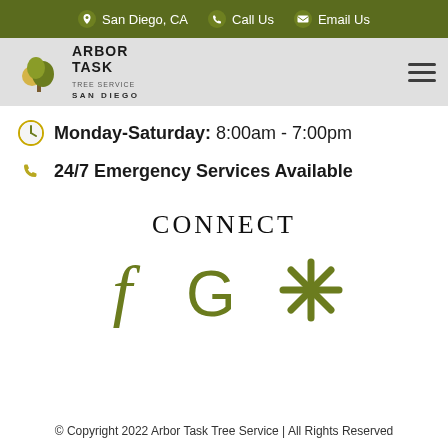San Diego, CA  Call Us  Email Us
[Figure (logo): Arbor Task Tree Service San Diego logo with tree/sun icon]
Monday-Saturday: 8:00am - 7:00pm
24/7 Emergency Services Available
CONNECT
[Figure (infographic): Social media icons: Facebook (f), Google (G), Yelp (asterisk/star symbol) in olive green]
© Copyright 2022 Arbor Task Tree Service | All Rights Reserved